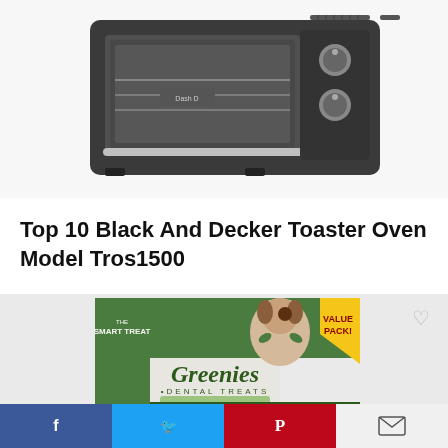[Figure (photo): Toaster oven (Dash brand) product photo on white background, top portion visible]
Top 10 Black And Decker Toaster Oven Model Tros1500
[Figure (photo): Greenies Dental Treats Original Petite dog treats box, Value Pack, 60 treats, for dogs 15-25 lbs]
Facebook | Twitter | Pinterest | Email social sharing bar